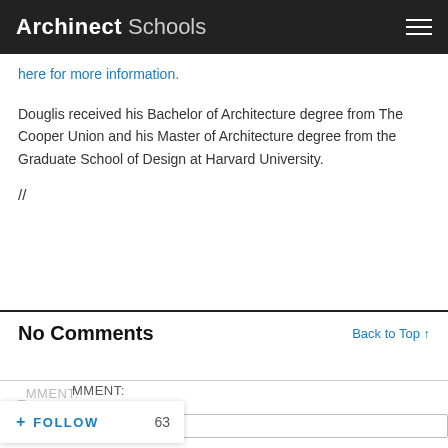Archinect Schools
here for more information.
Douglis received his Bachelor of Architecture degree from The Cooper Union and his Master of Architecture degree from the Graduate School of Design at Harvard University.
//
No Comments
Back to Top ↑
MMENT:
+ FOLLOW   63